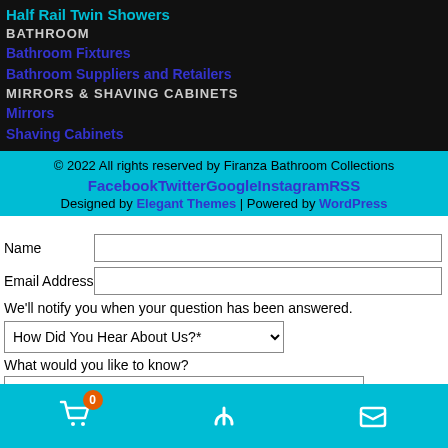Half Rail Twin Showers
BATHROOM
Bathroom Fixtures
Bathroom Suppliers and Retailers
MIRRORS & SHAVING CABINETS
Mirrors
Shaving Cabinets
© 2022 All rights reserved by Firanza Bathroom Collections
FacebookTwitterGoogleInstagramRSS
Designed by Elegant Themes | Powered by WordPress
Name
Email Address
We'll notify you when your question has been answered.
How Did You Hear About Us?*
What would you like to know?